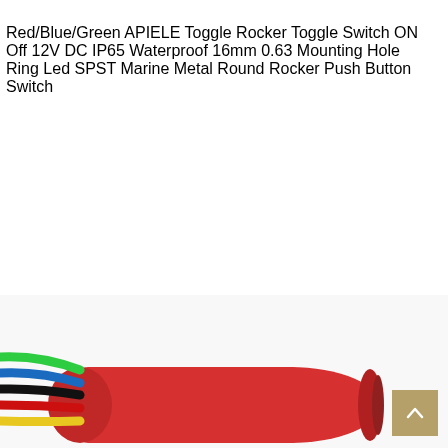Red/Blue/Green APIELE Toggle Rocker Toggle Switch ON Off 12V DC IP65 Waterproof 16mm 0.63 Mounting Hole Ring Led SPST Marine Metal Round Rocker Push Button Switch
[Figure (photo): Close-up photo of a red plastic electrical connector with multiple colored wires (green, blue, black, red, yellow) bundled together coming out of it, viewed from the left side against a white background.]